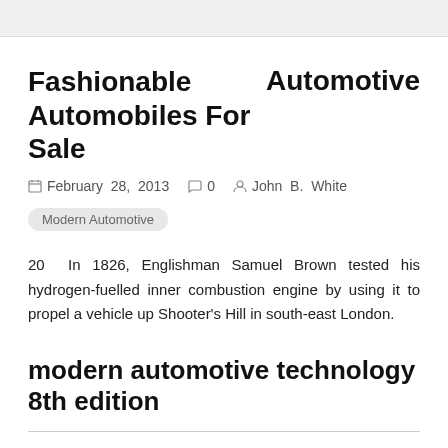Fashionable Automobiles For Sale    Automotive
February 28, 2013   0   John B. White
Modern Automotive
20 In 1826, Englishman Samuel Brown tested his hydrogen-fuelled inner combustion engine by using it to propel a vehicle up Shooter's Hill in south-east London.
modern automotive technology 8th edition